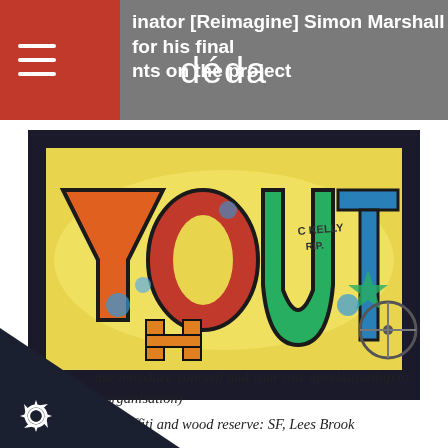inator [Reimagine] Simon Marshall for his final nts on the project déda
[Figure (photo): Photograph of a bus shelter or outdoor structure with graffiti artwork reading 'YOUTH' in large colourful bubble letters with blue, orange, red, and green colours. The text 'C KELLY RIP' is visible in smaller writing. The setting appears to be an outdoor park or field.]
Image credit: Graffiti and wood reserve: SF, Lees Brook Community School
ase introduce yourself and your role at/relationship to r organisation)